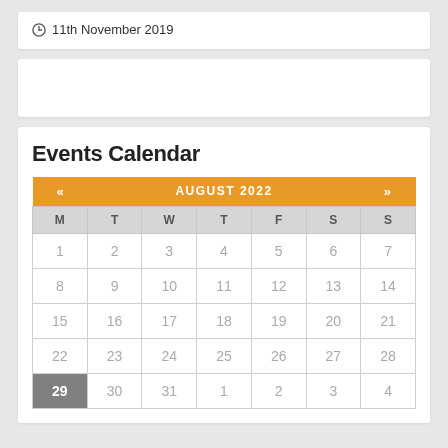11th November 2019
| M | T | W | T | F | S | S |
| --- | --- | --- | --- | --- | --- | --- |
| 1 | 2 | 3 | 4 | 5 | 6 | 7 |
| 8 | 9 | 10 | 11 | 12 | 13 | 14 |
| 15 | 16 | 17 | 18 | 19 | 20 | 21 |
| 22 | 23 | 24 | 25 | 26 | 27 | 28 |
| 29 | 30 | 31 | 1 | 2 | 3 | 4 |